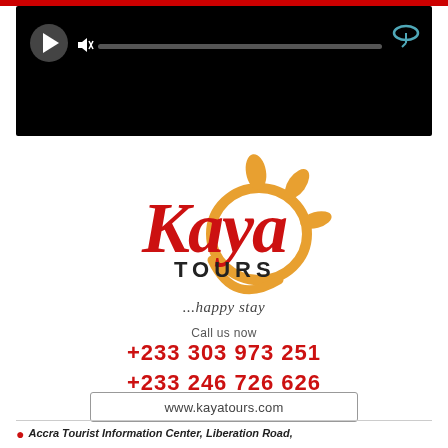[Figure (screenshot): Video player UI with black background, play button, volume icon, and progress bar. Small umbrella/wifi icon top right.]
[Figure (logo): Kaya Tours logo with red script 'Kaya' text, dark 'TOURS' text, and orange sun/circle graphic with rays. Tagline: ...happy stay]
Call us now
+233 303 973 251
+233 246 726 626
www.kayatours.com
Accra Tourist Information Center, Liberation Road,